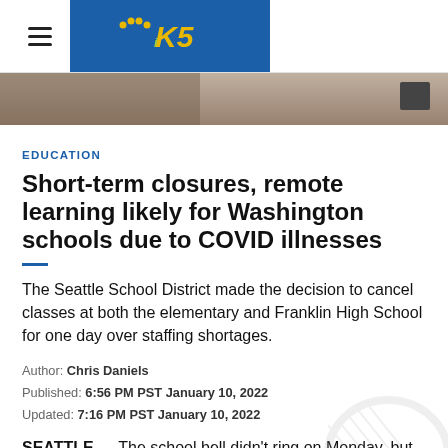KING5 NBC Logo, hamburger menu
[Figure (photo): Hero image, blurred school scene background]
EDUCATION
Short-term closures, remote learning likely for Washington schools due to COVID illnesses
The Seattle School District made the decision to cancel classes at both the elementary and Franklin High School for one day over staffing shortages.
Author: Chris Daniels
Published: 6:56 PM PST January 10, 2022
Updated: 7:16 PM PST January 10, 2022
SEATTLE — The school bell didn't ring on Monday, but the